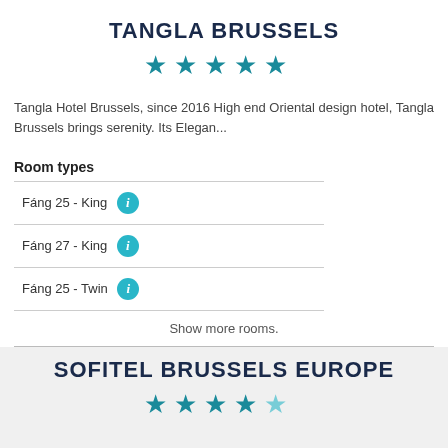TANGLA BRUSSELS
[Figure (other): 5 teal star rating icons]
Tangla Hotel Brussels, since 2016 High end Oriental design hotel, Tangla Brussels brings serenity. Its Elegan...
Room types
Fáng 25 - King
Fáng 27 - King
Fáng 25 - Twin
Show more rooms.
SOFITEL BRUSSELS EUROPE
[Figure (other): 5 teal star rating icons (partial view)]